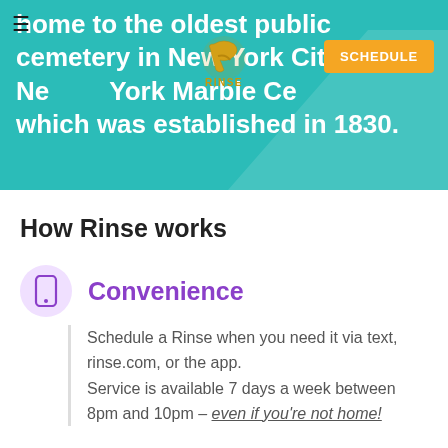home to the oldest public cemetery in New York City: The New York Marble Cemetery, which was established in 1830.
[Figure (logo): Rinse logo — stylized gold R with wave design and RINSE text]
How Rinse works
Convenience
Schedule a Rinse when you need it via text, rinse.com, or the app.
Service is available 7 days a week between 8pm and 10pm – even if you're not home!